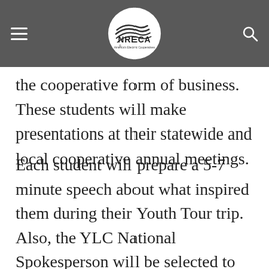NRECA — America's Electric Cooperatives
the cooperative form of business. These students will make presentations at their statewide and local cooperative annual meetings.
Each student will prepare a 5-7 minute speech about what inspired them during their Youth Tour trip. Also, the YLC National Spokesperson will be selected to address the membership at the NRECA Annual Meeting and to address the Youth Tour delegates the following year.